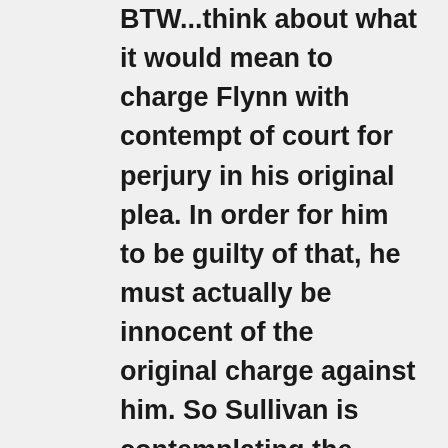BTW...think about what it would mean to charge Flynn with contempt of court for perjury in his original plea. In order for him to be guilty of that, he must actually be innocent of the original charge against him. So Sullivan is contemplating the possibility that a man who has been falsely charged with a crime should be punished for being coerced into pleading guilty to a crime that he never should have been charged with in the first place. It's